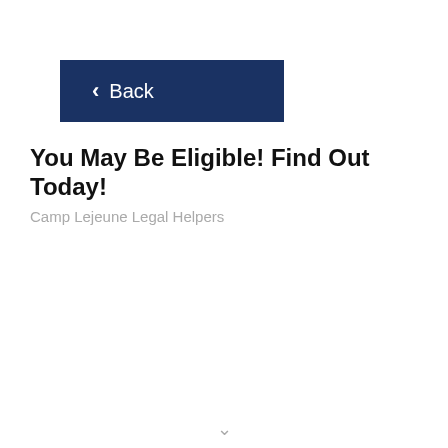< Back
You May Be Eligible! Find Out Today!
Camp Lejeune Legal Helpers